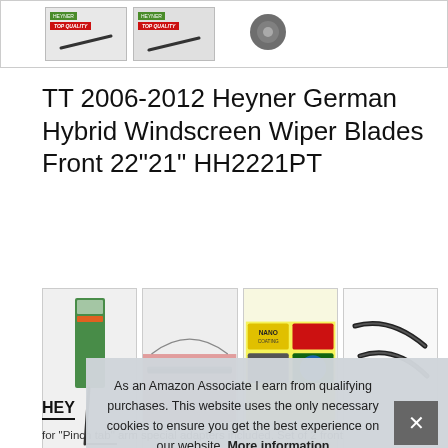[Figure (photo): Top image strip showing product packaging images and wiper blade silhouette]
TT 2006-2012 Heyner German Hybrid Windscreen Wiper Blades Front 22"21" HH2221PT
[Figure (photo): Four product thumbnail images showing wiper blade packaging: green packaged wiper, blade on car windscreen, Nano coating labels grid, and two curved wiper blades]
HEY
for "Pinch tab" arm special adapters included. Set of 2 front